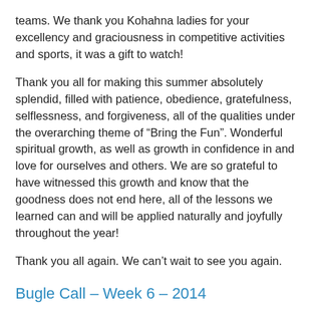teams. We thank you Kohahna ladies for your excellency and graciousness in competitive activities and sports, it was a gift to watch!
Thank you all for making this summer absolutely splendid, filled with patience, obedience, gratefulness, selflessness, and forgiveness, all of the qualities under the overarching theme of “Bring the Fun”. Wonderful spiritual growth, as well as growth in confidence in and love for ourselves and others. We are so grateful to have witnessed this growth and know that the goodness does not end here, all of the lessons we learned can and will be applied naturally and joyfully throughout the year!
Thank you all again. We can’t wait to see you again.
Bugle Call – Week 6 – 2014
What a joyful sixth week it has been! Kohahna kicked off this week with a metaphysical talk on the topic of obedience, one